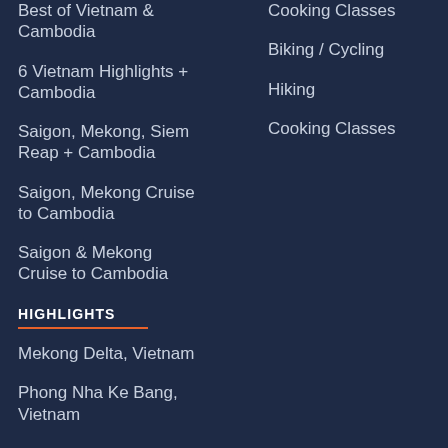Best of Vietnam & Cambodia
Cooking Classes
6 Vietnam Highlights + Cambodia
Biking / Cycling
Saigon, Mekong, Siem Reap + Cambodia
Hiking
Saigon, Mekong Cruise to Cambodia
Cooking Classes
Saigon & Mekong Cruise to Cambodia
HIGHLIGHTS
Mekong Delta, Vietnam
Phong Nha Ke Bang, Vietnam